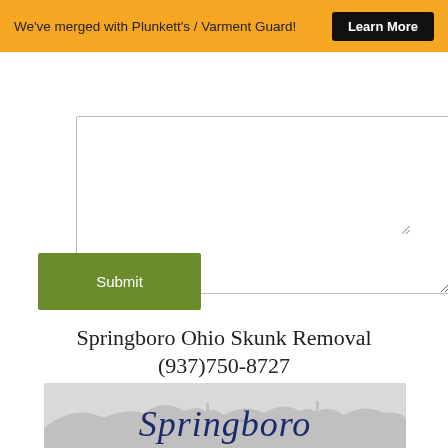We've merged with Plunkett's / Varment Guard! Learn More
[Figure (screenshot): Empty textarea input field with resize handle]
[Figure (screenshot): Green Submit button]
Springboro Ohio Skunk Removal
(937)750-8727
[Figure (illustration): Springboro city logo/illustration showing stylized cursive 'Springboro' text in navy blue over a light grey background with a city silhouette]